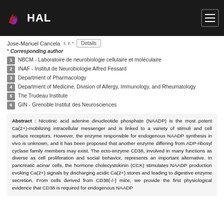HAL
Jose-Manuel Cancela 1, 2, *
* Corresponding author
1  NBCM - Laboratoire de neurobiologie cellulaire et moléculaire
2  INAF - Institut de Neurobiologie Alfred Fessard
3  Department of Pharmacology
4  Department of Medicine, Division of Allergy, Immunology, and Rheumatology
5  The Trudeau Institute
6  GIN - Grenoble Institut des Neurosciences
Abstract : Nicotinic acid adenine dinucleotide phosphate (NAADP) is the most potent Ca(2+)-mobilizing intracellular messenger and is linked to a variety of stimuli and cell surface receptors. However, the enzyme responsible for endogenous NAADP synthesis in vivo is unknown, and it has been proposed that another enzyme differing from ADP-ribosyl cyclase family members may exist. The ecto-enzyme CD38, involved in many functions as diverse as cell proliferation and social behavior, represents an important alternative. In pancreatic acinar cells, the hormone cholecystokinin (CCK) stimulates NAADP production evoking Ca(2+) signals by discharging acidic Ca(2+) stores and leading to digestive enzyme secretion. From cells derived from CD38(-/-) mice, we provide the first physiological evidence that CD38 is required for endogenous NAADP